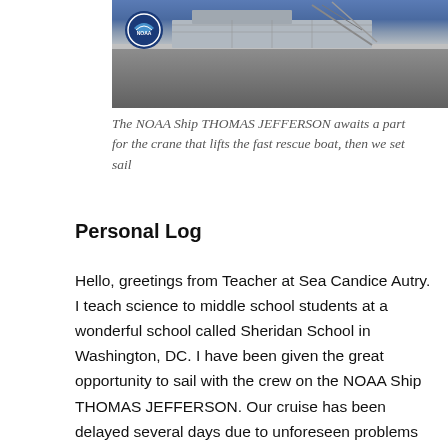[Figure (photo): Aerial or close-up photo of the NOAA Ship THOMAS JEFFERSON showing the NOAA logo on the hull and crane/rescue boat equipment on deck]
The NOAA Ship THOMAS JEFFERSON awaits a part for the crane that lifts the fast rescue boat, then we set sail
Personal Log
Hello, greetings from Teacher at Sea Candice Autry.  I teach science to middle school students at a wonderful school called Sheridan School in Washington, DC.  I have been given the great opportunity to sail with the crew on the NOAA Ship THOMAS JEFFERSON. Our cruise has been delayed several days due to unforeseen problems with some of the complex and necessary equipment on the ship.  It is important to be flexible with any kind of change, so these past few days have given me the opportunity to explore the ship as we wait for final repairs. The objectives of this particular ship primarily